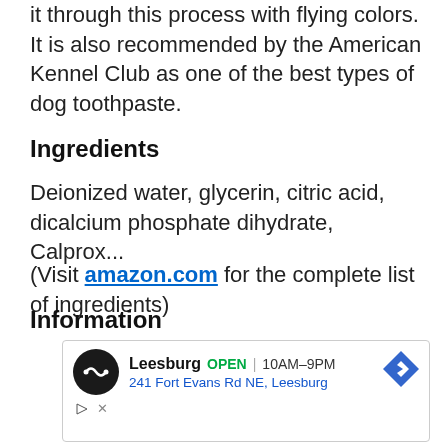it through this process with flying colors. It is also recommended by the American Kennel Club as one of the best types of dog toothpaste.
Ingredients
Deionized water, glycerin, citric acid, dicalcium phosphate dihydrate, Calprox...
(Visit amazon.com for the complete list of ingredients)
Information
[Figure (other): Advertisement box showing Leesburg store: OPEN 10AM-9PM, 241 Fort Evans Rd NE, Leesburg, with navigation arrow icon]